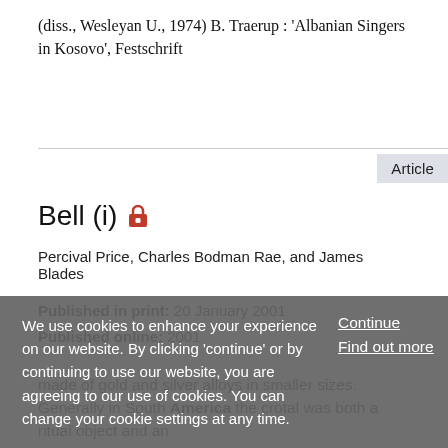(diss., Wesleyan U., 1974) B. Traerup : 'Albanian Singers in Kosovo', Festschrift
Article
Bell (i)
Percival Price, Charles Bodman Rae, and James Blades
Published in print: 20 January 2001
Published online: 2001
made of gold and silver alloys in smaller sizes. Generally in South America the crotal was both a ritual object and an
We use cookies to enhance your experience on our website. By clicking 'continue' or by continuing to use our website, you are agreeing to our use of cookies. You can change your cookie settings at any time.